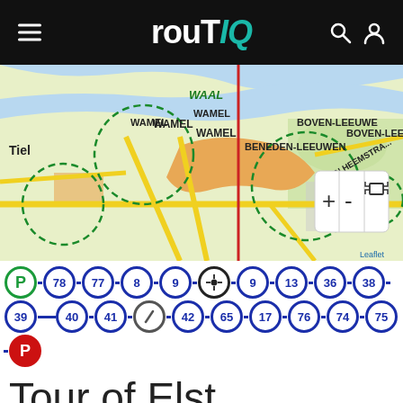routIQ
[Figure (map): Map showing area around Tiel, Wamel, Beneden-Leeuwen, Boven-Leeuwen and WAAL river with route overlay and zoom controls (+, -, fullscreen)]
[Figure (infographic): Route node sequence: green P - 78 - 77 - 8 - 9 - crosshair - 9 - 13 - 36 - 38 - 39 - (continues) - 40 - 41 - slash - 42 - 65 - 17 - 76 - 74 - 75 - red P]
Tour of Elst, Rhenen and